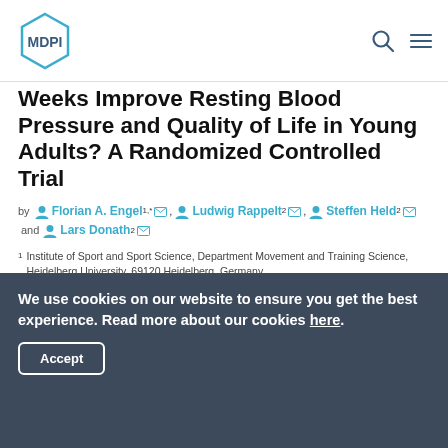MDPI
Weeks Improve Resting Blood Pressure and Quality of Life in Young Adults? A Randomized Controlled Trial
by Florian A. Engel 1,* Ludwig Rappelt 2 Steffen Held 2 and Lars Donath 2
1 Institute of Sport and Sport Science, Department Movement and Training Science, Heidelberg University, 69120 Heidelberg, Germany
2 Department of Intervention Research in Exercise Training, German...
We use cookies on our website to ensure you get the best experience. Read more about our cookies here.
Accept